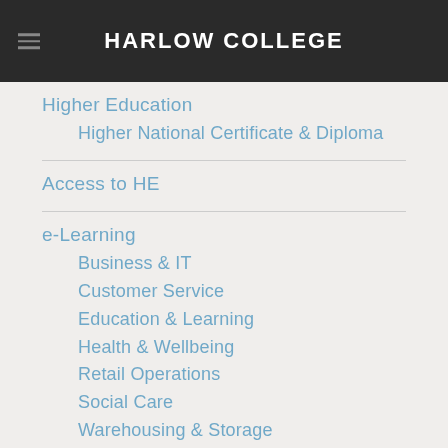HARLOW COLLEGE
Higher Education
Higher National Certificate & Diploma
Access to HE
e-Learning
Business & IT
Customer Service
Education & Learning
Health & Wellbeing
Retail Operations
Social Care
Warehousing & Storage
Return to Work
Bright Futures Training Centre
Bright Futures Courses
Essential Digital Skills
Professional Skills